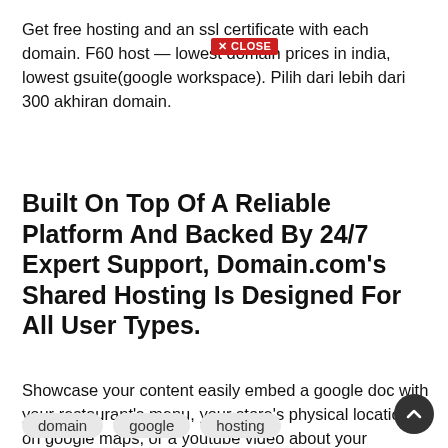Get free hosting and an ssl certificate with each domain. F60 host — lowest domain prices in india, lowest gsuite(google workspace). Pilih dari lebih dari 300 akhiran domain.
[Figure (other): Red close button with X icon and text CLOSE]
Built On Top Of A Reliable Platform And Backed By 24/7 Expert Support, Domain.com's Shared Hosting Is Designed For All User Types.
Showcase your content easily embed a google doc with your restaurant's menu, your store's physical location on google maps, or a youtube video about your business. Use the icann lookup tool to find your domain host. The registrar is usually your domain host.
domain   google   hosting